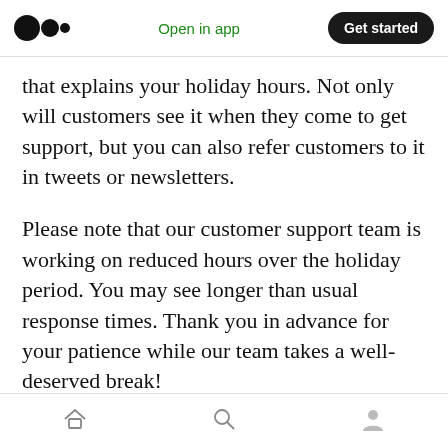Medium logo | Open in app | Get started
that explains your holiday hours. Not only will customers see it when they come to get support, but you can also refer customers to it in tweets or newsletters.
Please note that our customer support team is working on reduced hours over the holiday period. You may see longer than usual response times. Thank you in advance for your patience while our team takes a well-deserved break!
For urgent issues, please contact your account manager. We have an on-call team available
Home | Search | Profile